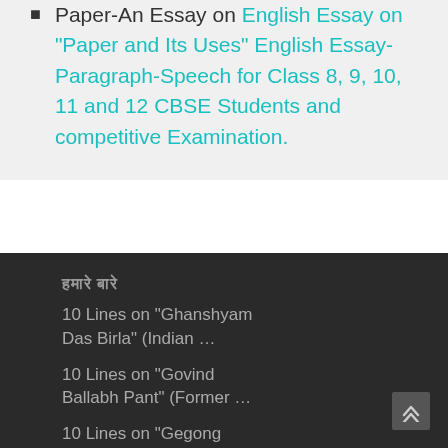Paper-An Essay on English Essay on "Paper and Its Uses" English Essay-Paragraph-Speech for Class 8, 9, 10, 11 and 12 CBSE Students and competitive Examination.
हमारे बारे
10 Lines on "Ghanshyam Das Birla" (Indian …
10 Lines on "Govind Ballabh Pant" (Former …
10 Lines on "Gegong Apang" (Former Chief …